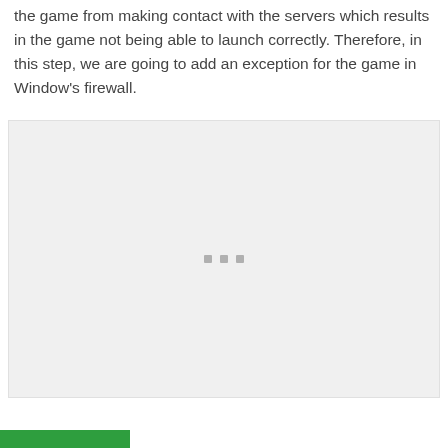the game from making contact with the servers which results in the game not being able to launch correctly. Therefore, in this step, we are going to add an exception for the game in Window's firewall.
[Figure (screenshot): A screenshot placeholder showing a loading or dialog state with three small square dots centered in a light gray box, with a green bar at the bottom left.]